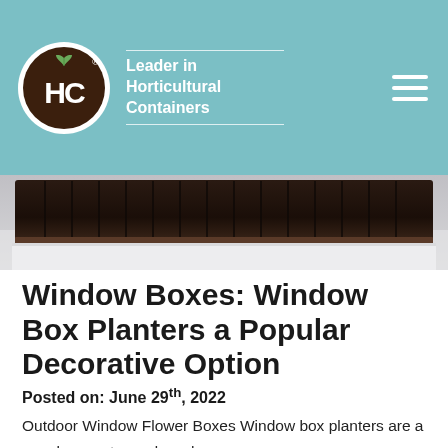HC Leader in Horticultural Containers
[Figure (photo): Close-up photo of a dark brown ribbed window box planter against a white background]
Window Boxes: Window Box Planters a Popular Decorative Option
Posted on: June 29th, 2022
Outdoor Window Flower Boxes Window box planters are a popular way to garden when space